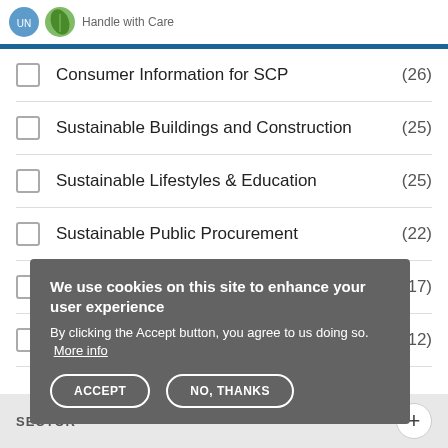Handle with Care
Consumer Information for SCP (26)
Sustainable Buildings and Construction (25)
Sustainable Lifestyles & Education (25)
Sustainable Public Procurement (22)
(17)
(12)
[Figure (screenshot): Cookie consent overlay popup with title 'We use cookies on this site to enhance your user experience', body text 'By clicking the Accept button, you agree to us doing so. More info', and two buttons: ACCEPT and NO, THANKS]
SECTOR +